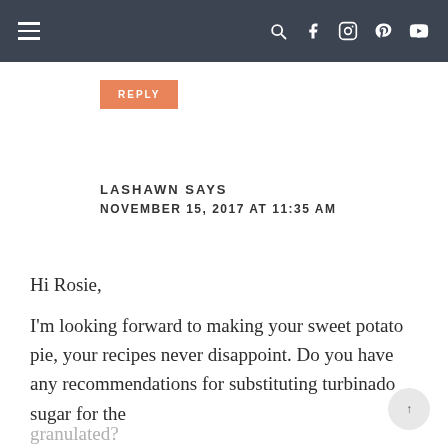Navigation bar with hamburger menu and social icons
REPLY
LASHAWN SAYS
NOVEMBER 15, 2017 AT 11:35 AM
Hi Rosie,
I'm looking forward to making your sweet potato pie, your recipes never disappoint. Do you have any recommendations for substituting turbinado sugar for the granulated?